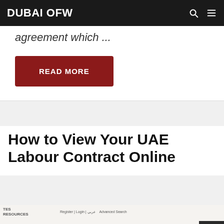DUBAI OFW
agreement which ...
READ MORE
How to View Your UAE Labour Contract Online
[Figure (screenshot): Screenshot of UAE Ministry of Human Resources website showing navigation bar with links: NEWS & LEGISLATION, SERVICES, MEDIA CENTER, EPARTICIPATION, and registration/login options.]